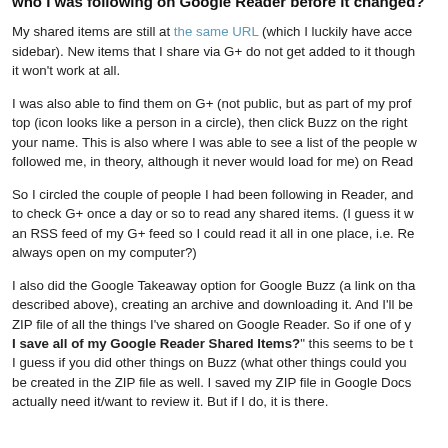who I was following on Google Reader before it changed?
My shared items are still at the same URL (which I luckily have access to via sidebar). New items that I share via G+ do not get added to it though, so it won't work at all.
I was also able to find them on G+ (not public, but as part of my profile) at top (icon looks like a person in a circle), then click Buzz on the right... your name. This is also where I was able to see a list of the people w followed me, in theory, although it never would load for me) on Read...
So I circled the couple of people I had been following in Reader, and... to check G+ once a day or so to read any shared items. (I guess it w an RSS feed of my G+ feed so I could read it all in one place, i.e. Re always open on my computer?)
I also did the Google Takeaway option for Google Buzz (a link on tha described above), creating an archive and downloading it. And I'll be ZIP file of all the things I've shared on Google Reader. So if one of y "I save all of my Google Reader Shared Items?" this seems to be t I guess if you did other things on Buzz (what other things could you be created in the ZIP file as well. I saved my ZIP file in Google Docs actually need it/want to review it. But if I do, it is there.